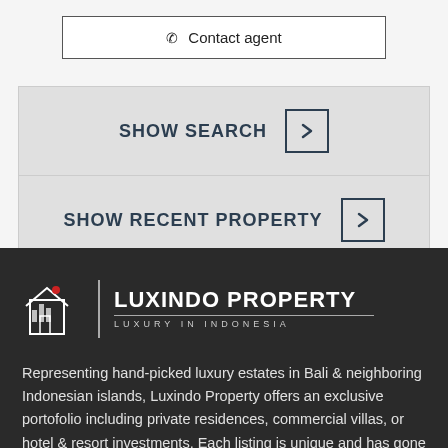Contact agent
SHOW SEARCH
SHOW RECENT PROPERTY
[Figure (logo): Luxindo Property logo - luxury house icon with red accent, vertical bar divider, text LUXINDO PROPERTY and subtitle LUXURY IN INDONESIA]
Representing hand-picked luxury estates in Bali & neighboring Indonesian islands, Luxindo Property offers an exclusive portofolio including private residences, commercial villas, or hotel & resort investments. Each listing is unique and has gone through our